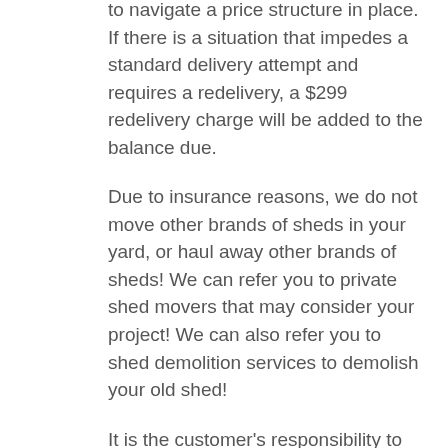to navigate a price structure in place. If there is a situation that impedes a standard delivery attempt and requires a redelivery, a $299 redelivery charge will be added to the balance due.
Due to insurance reasons, we do not move other brands of sheds in your yard, or haul away other brands of sheds! We can refer you to private shed movers that may consider your project! We can also refer you to shed demolition services to demolish your old shed!
It is the customer's responsibility to choose an optimal location on the